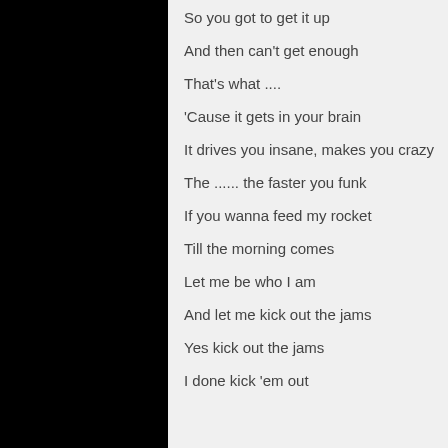So you got to get it up
And then can't get enough
That's what ....
'Cause it gets in your brain
It drives you insane, makes you crazy
The ...... the faster you funk
If you wanna feed my rocket
Till the morning comes
Let me be who I am
And let me kick out the jams
Yes kick out the jams
I done kick 'em out